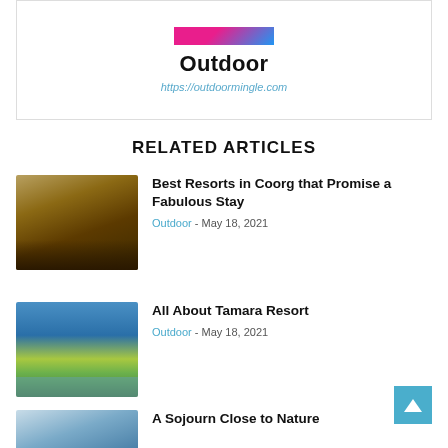[Figure (photo): Top banner image strip showing colorful outdoor/pink clothing]
Outdoor
https://outdoormingle.com
RELATED ARTICLES
[Figure (photo): Luxury safari tent in a jungle setting at night, warm glowing interior]
Best Resorts in Coorg that Promise a Fabulous Stay
Outdoor - May 18, 2021
[Figure (photo): Scenic lake landscape with mountains and dramatic cloudy sky reflected in water]
All About Tamara Resort
Outdoor - May 18, 2021
[Figure (photo): Outdoor nature scene, partially visible at bottom]
A Sojourn Close to Nature